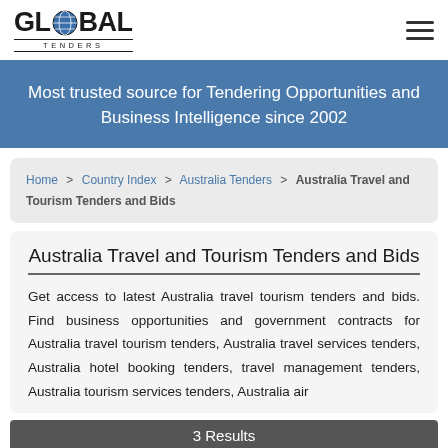GLOBAL TENDERS
Most trusted source for Tendering Opportunities and Business Intelligence since 2002
Home > Country Index > Australia Tenders > Australia Travel and Tourism Tenders and Bids
Australia Travel and Tourism Tenders and Bids
Get access to latest Australia travel tourism tenders and bids. Find business opportunities and government contracts for Australia travel tourism tenders, Australia travel services tenders, Australia hotel booking tenders, travel management tenders, Australia tourism services tenders, Australia air
3 Results